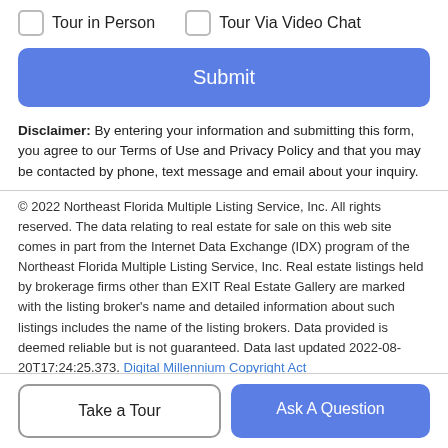Tour in Person   Tour Via Video Chat
Submit
Disclaimer: By entering your information and submitting this form, you agree to our Terms of Use and Privacy Policy and that you may be contacted by phone, text message and email about your inquiry.
© 2022 Northeast Florida Multiple Listing Service, Inc. All rights reserved. The data relating to real estate for sale on this web site comes in part from the Internet Data Exchange (IDX) program of the Northeast Florida Multiple Listing Service, Inc. Real estate listings held by brokerage firms other than EXIT Real Estate Gallery are marked with the listing broker's name and detailed information about such listings includes the name of the listing brokers. Data provided is deemed reliable but is not guaranteed. Data last updated 2022-08-20T17:24:25.373. Digital Millennium Copyright Act
Take a Tour
Ask A Question